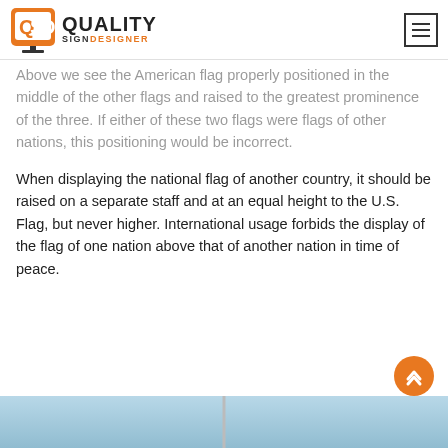Quality Sign Designer
Above we see the American flag properly positioned in the middle of the other flags and raised to the greatest prominence of the three. If either of these two flags were flags of other nations, this positioning would be incorrect.
When displaying the national flag of another country, it should be raised on a separate staff and at an equal height to the U.S. Flag, but never higher. International usage forbids the display of the flag of one nation above that of another nation in time of peace.
[Figure (photo): Photo of flags on poles with blue sky background]